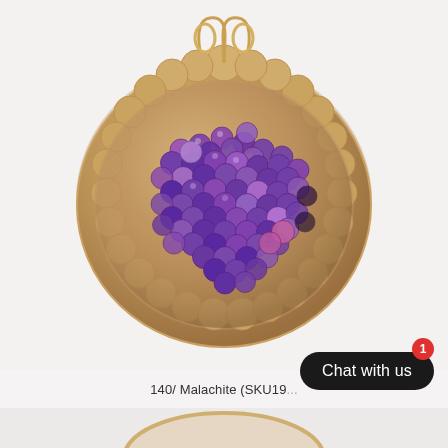[Figure (photo): A gold scallop shell dish filled with a pile of purple and violet marbled round gemstone beads (malachite/agate), photographed from above on a light background.]
140/ Malachite (SKU19...
Chat with us
[Figure (photo): Partial view of a second product image at the bottom of the page showing the top of another gold dish.]